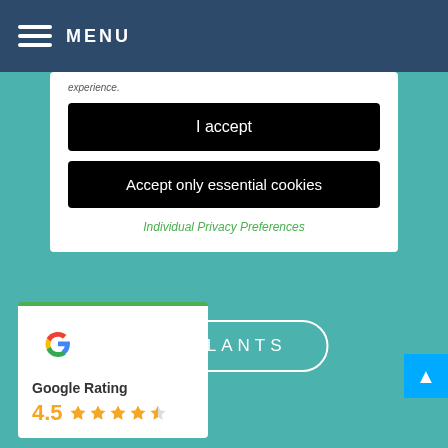MENU
experience.
I accept
Accept only essential cookies
Individual Privacy Preferences
IMPLANTS
Google Rating 4.5